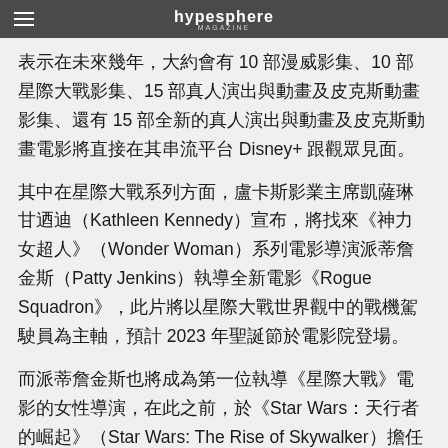hypesphere
表示在未來幾年，大約會有 10 部漫威影集、10 部星際大戰影集、15 部真人演出與動畫及皮克斯動畫影集、還有 15 部全新的真人演出與動畫及皮克斯動畫電影將直接在其串流平台 Disney+ 跟觀眾見面。
其中在星際大戰系列方面，盧卡斯影業主席凱薩琳甘迺迪（Kathleen Kennedy）宣布，將找來《神力女超人》（Wonder Woman）系列電影導演派蒂詹金斯（Patty Jenkins）執導全新電影《Rogue Squadron》，此片將以星際大戰世界觀中的戰機駕駛員為主軸，預計 2023 年聖誕節於電影院登場。
而派蒂詹金斯也將成為第一位執導《星際大戰》電影的女性導演，在此之前，於《Star Wars：天行者的崛起》（Star Wars: The Rise of Skywalker）擔任第二工作組導演的薇多莉亞馬豪尼（Victoria Mahoney）是第一位進入《星際大戰》系列作品導演團隊的女性導演；接著是黛博拉趙